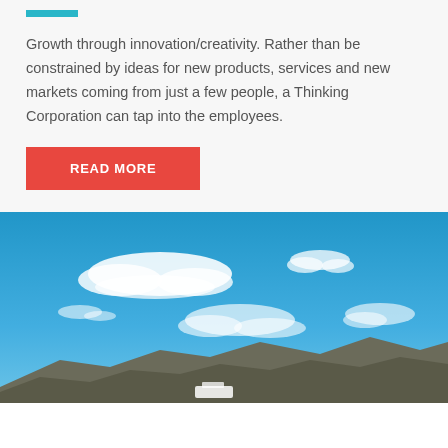Growth through innovation/creativity. Rather than be constrained by ideas for new products, services and new markets coming from just a few people, a Thinking Corporation can tap into the employees.
READ MORE
[Figure (photo): Photo of a bright blue sky with white clouds and a mountain ridge with a vehicle visible at the bottom.]